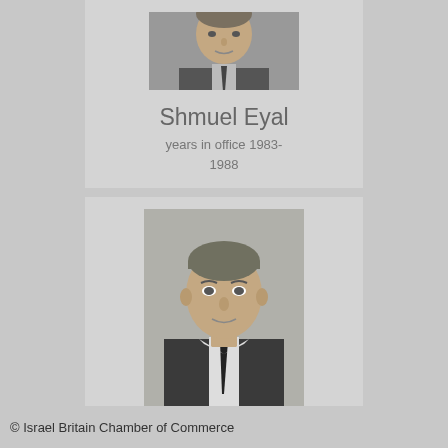[Figure (photo): Black and white portrait photo of Shmuel Eyal, a middle-aged man in a suit, partial view (head and shoulders, slightly cropped at top)]
Shmuel Eyal
years in office 1983-1988
[Figure (photo): Black and white formal portrait photo of Haaron Sacharov, a man in a suit and tie, looking directly at camera]
Haaron Sacharov
years in office 1977-1982
© Israel Britain Chamber of Commerce